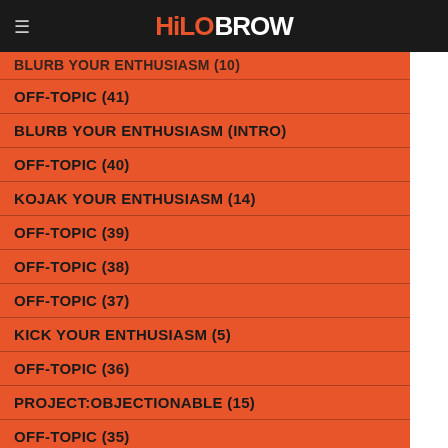HiloBrow
BLURB YOUR ENTHUSIASM (10)
OFF-TOPIC (41)
BLURB YOUR ENTHUSIASM (INTRO)
OFF-TOPIC (40)
KOJAK YOUR ENTHUSIASM (14)
OFF-TOPIC (39)
OFF-TOPIC (38)
OFF-TOPIC (37)
KICK YOUR ENTHUSIASM (5)
OFF-TOPIC (36)
PROJECT:OBJECTIONABLE (15)
OFF-TOPIC (35)
NERD YOUR ENTHUSIASM (13)